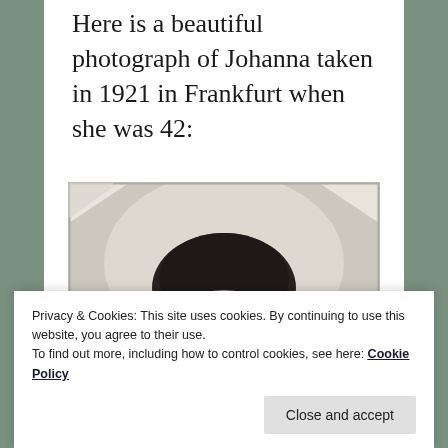Here is a beautiful photograph of Johanna taken in 1921 in Frankfurt when she was 42:
[Figure (photo): Black and white portrait photograph of a woman (Johanna) taken in 1921 in Frankfurt, showing her face and upper head with dark curled hair, against a light background. The photo appears aged with worn corners.]
Privacy & Cookies: This site uses cookies. By continuing to use this website, you agree to their use.
To find out more, including how to control cookies, see here: Cookie Policy